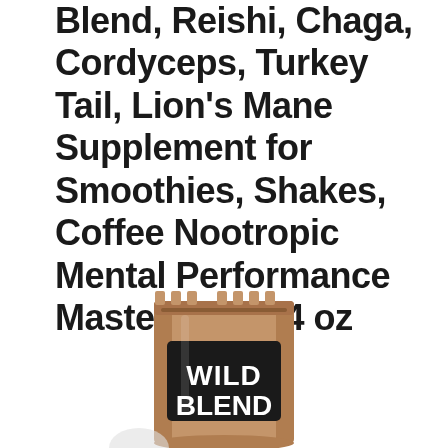Blend, Reishi, Chaga, Cordyceps, Turkey Tail, Lion's Mane Supplement for Smoothies, Shakes, Coffee Nootropic Mental Performance Master Blend 4 oz
[Figure (photo): Product photo of a kraft paper standup pouch/bag with a black label reading 'WILD BLEND' in bold white text. The bag is brown/tan colored with a zipper seal at the top.]